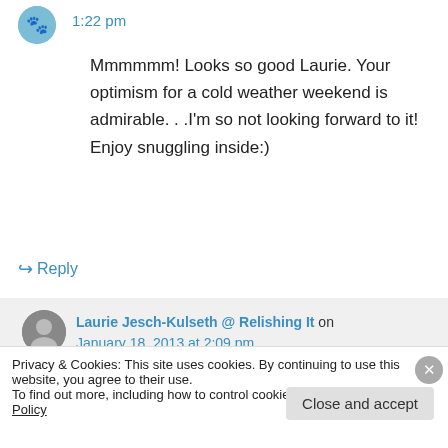1:22 pm
Mmmmmm! Looks so good Laurie. Your optimism for a cold weather weekend is admirable. . .I’m so not looking forward to it! Enjoy snuggling inside:)
↪ Reply
Laurie Jesch-Kulseth @ Relishing It on January 18, 2013 at 2:09 pm
Privacy & Cookies: This site uses cookies. By continuing to use this website, you agree to their use. To find out more, including how to control cookies, see here: Cookie Policy